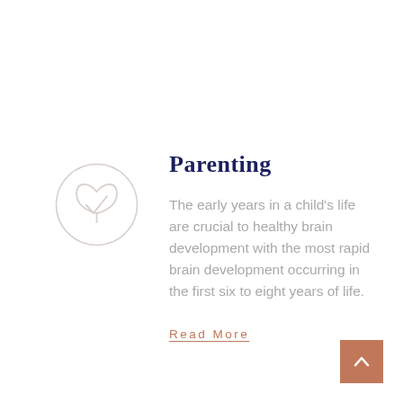[Figure (illustration): A light gray outline icon of a flower or tulip with a checkmark inside, positioned to the left of the title]
Parenting
The early years in a child's life are crucial to healthy brain development with the most rapid brain development occurring in the first six to eight years of life.
Read More